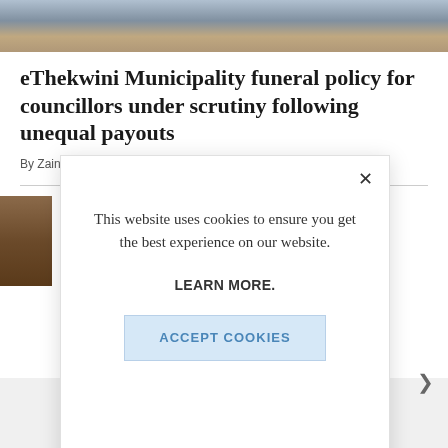[Figure (photo): Top banner photo showing people, partially cropped]
eThekwini Municipality funeral policy for councillors under scrutiny following unequal payouts
By Zainul Dawood | Published Aug 18, 2022
[Figure (photo): Partial thumbnail photo on left side, showing wooden/brown tones]
This website uses cookies to ensure you get the best experience on our website. LEARN MORE. ACCEPT COOKIES